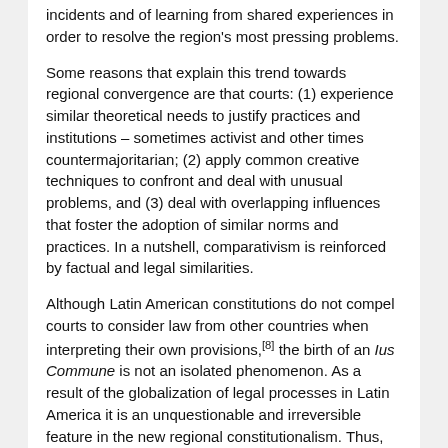incidents and of learning from shared experiences in order to resolve the region's most pressing problems.
Some reasons that explain this trend towards regional convergence are that courts: (1) experience similar theoretical needs to justify practices and institutions – sometimes activist and other times countermajoritarian; (2) apply common creative techniques to confront and deal with unusual problems, and (3) deal with overlapping influences that foster the adoption of similar norms and practices. In a nutshell, comparativism is reinforced by factual and legal similarities.
Although Latin American constitutions do not compel courts to consider law from other countries when interpreting their own provisions,[8] the birth of an Ius Commune is not an isolated phenomenon. As a result of the globalization of legal processes in Latin America it is an unquestionable and irreversible feature in the new regional constitutionalism. Thus, Latin America has not shared the doubts and skepticism evident among American scholars and Supreme Court Justices with respect to the use of comparative law.
In Latin America, the key issue with respect to the relevance